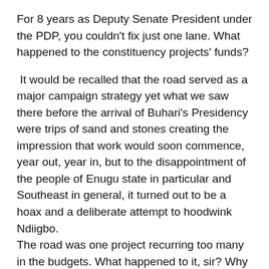For 8 years as Deputy Senate President under the PDP, you couldn't fix just one lane. What happened to the constituency projects' funds?
It would be recalled that the road served as a major campaign strategy yet what we saw there before the arrival of Buhari's Presidency were trips of sand and stones creating the impression that work would soon commence, year out, year in, but to the disappointment of the people of Enugu state in particular and Southeast in general, it turned out to be a hoax and a deliberate attempt to hoodwink Ndiigbo.
The road was one project recurring too many in the budgets. What happened to it, sir? Why couldn't you use the competence you're touting to fix the road? Why has the road remained a deathtrap? It would be recalled that Barr. Sullivan Chime, then as governor, had to fix the alternative road, willfully putting your competence to test. It did appear